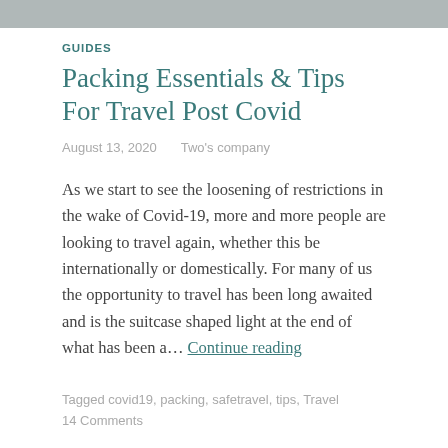[Figure (photo): Partial photo strip at top of page, showing a muted outdoor/travel scene]
GUIDES
Packing Essentials & Tips For Travel Post Covid
August 13, 2020   Two's company
As we start to see the loosening of restrictions in the wake of Covid-19, more and more people are looking to travel again, whether this be internationally or domestically. For many of us the opportunity to travel has been long awaited and is the suitcase shaped light at the end of what has been a… Continue reading
Tagged covid19, packing, safetravel, tips, Travel
14 Comments